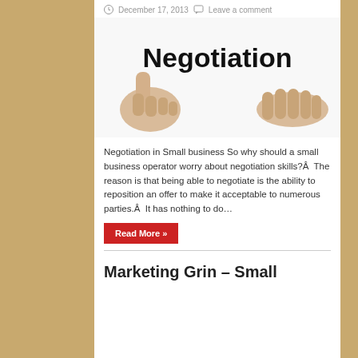December 17, 2013   Leave a comment
[Figure (photo): Image showing two hands with text 'Negotiation' overlaid — one hand making a gesture and another open hand reaching out]
Negotiation in Small business So why should a small business operator worry about negotiation skills?Â  The reason is that being able to negotiate is the ability to reposition an offer to make it acceptable to numerous parties.Â  It has nothing to do…
Read More »
Marketing Grin – Small